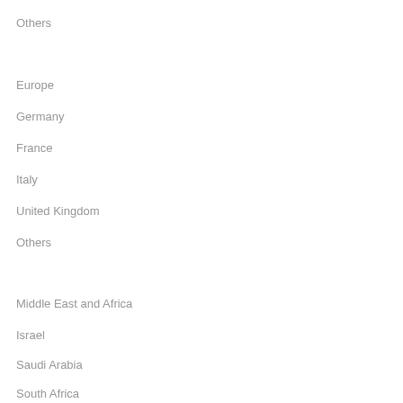Others
Europe
Germany
France
Italy
United Kingdom
Others
Middle East and Africa
Israel
Saudi Arabia
South Africa